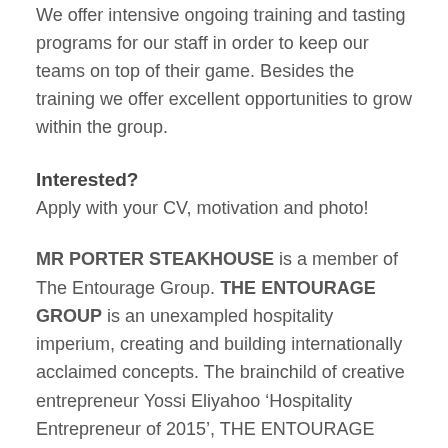We offer intensive ongoing training and tasting programs for our staff in order to keep our teams on top of their game. Besides the training we offer excellent opportunities to grow within the group.
Interested?
Apply with your CV, motivation and photo!
MR PORTER STEAKHOUSE is a member of The Entourage Group. THE ENTOURAGE GROUP is an unexampled hospitality imperium, creating and building internationally acclaimed concepts. The brainchild of creative entrepreneur Yossi Eliyahoo ‘Hospitality Entrepreneur of 2015’, THE ENTOURAGE GROUP’s story began in Amsterdam in 2008 with the launch of MOMO, a sophisticated Asian-fusion restaurant, bar and lounge that